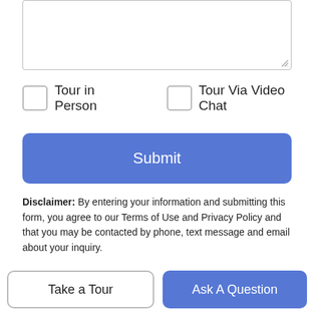[Figure (screenshot): Text area input box with resize handle]
Tour in Person
Tour Via Video Chat
Submit
Disclaimer: By entering your information and submitting this form, you agree to our Terms of Use and Privacy Policy and that you may be contacted by phone, text message and email about your inquiry.
© 2022 Mount Rushmore Area Association of REALTORS®., Inc. Multiple Listing Service. All rights reserved. IDX information is provided exclusively for consumers' personal, non-commercial use and may not be used for any purpose other than to identify prospective properties consumers may be interested in purchasing. Information is deemed reliable but is not guaranteed
Take a Tour
Ask A Question